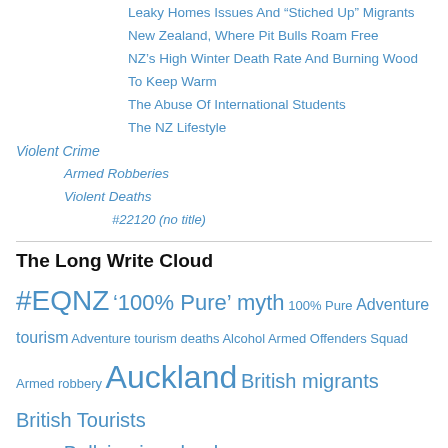Leaky Homes Issues And “Stiched Up” Migrants
New Zealand, Where Pit Bulls Roam Free
NZ’s High Winter Death Rate And Burning Wood To Keep Warm
The Abuse Of International Students
The NZ Lifestyle
Violent Crime
Armed Robberies
Violent Deaths
#22120 (no title)
The Long Write Cloud
#EQNZ ‘100% Pure’ myth 100% Pure Adventure tourism Adventure tourism deaths Alcohol Armed Offenders Squad Armed robbery Auckland British migrants British Tourists bullying Bullying in schools child abuse Children